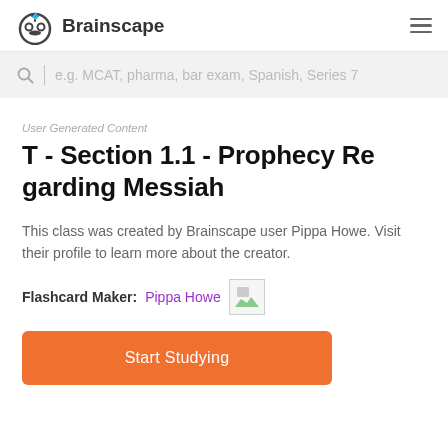Brainscape
e.g. MCAT, pharma, bar exam, Spanish, Series 7
User Generated Content
T - Section 1.1 - Prophecy Regarding Messiah
This class was created by Brainscape user Pippa Howe. Visit their profile to learn more about the creator.
Flashcard Maker:  Pippa Howe
Start Studying